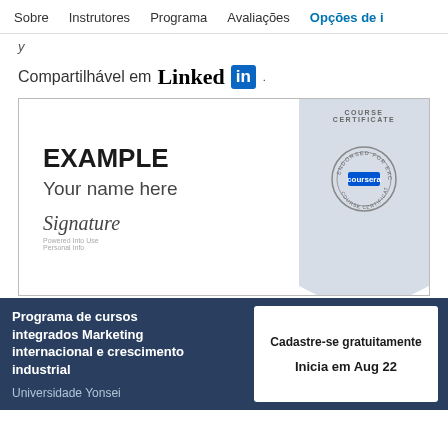Sobre  Instrutores  Programa  Avaliações  Opções de i
y
Compartilhável em LinkedIn
[Figure (illustration): Coursera course certificate example showing 'EXAMPLE / Your name here' with signature and Coursera seal on a ribbon banner]
Programa de cursos integrados Marketing internacional e crescimento industrial
Universidade Yonsei
Cadastre-se gratuitamente
Inicia em Aug 22